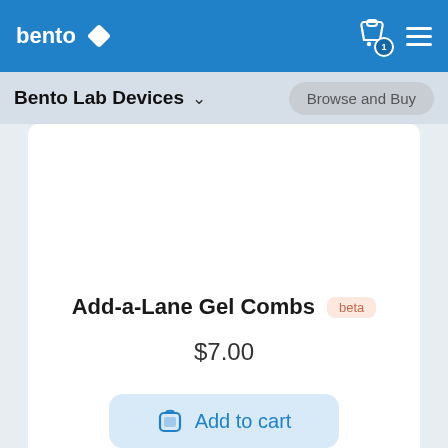bento
Bento Lab Devices   Browse and Buy
[Figure (other): Empty white product image area for Add-a-Lane Gel Combs]
Add-a-Lane Gel Combs  beta
$7.00
Add to cart